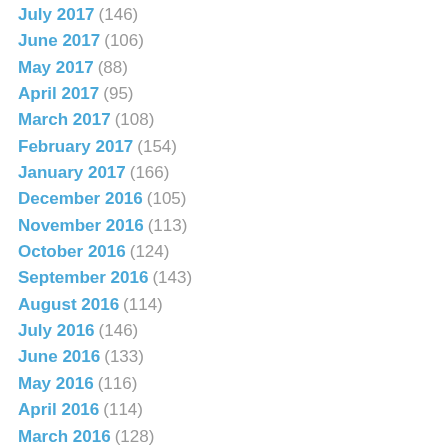July 2017 (146)
June 2017 (106)
May 2017 (88)
April 2017 (95)
March 2017 (108)
February 2017 (154)
January 2017 (166)
December 2016 (105)
November 2016 (113)
October 2016 (124)
September 2016 (143)
August 2016 (114)
July 2016 (146)
June 2016 (133)
May 2016 (116)
April 2016 (114)
March 2016 (128)
February 2016 (162)
January 2016 (212)
December 2015 (145)